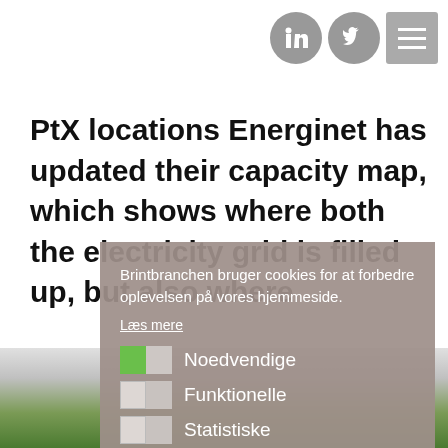[Figure (screenshot): Website header with LinkedIn and Twitter social icons and a hamburger menu icon on the right side]
PtX locations Energinet has updated their capacity map, which shows where both the electricity grid is filled up, but also where
[Figure (screenshot): Cookie consent dialog overlay with gray background containing cookie options: Noedvendige (checked/green), Funktionelle, Statistiske, Marketing; and two buttons: Gem and Tillad]
Brintbranchen bruger cookies for at forbedre oplevelsen på vores hjemmeside.
Læs mere
Noedvendige
Funktionelle
Statistiske
Marketing